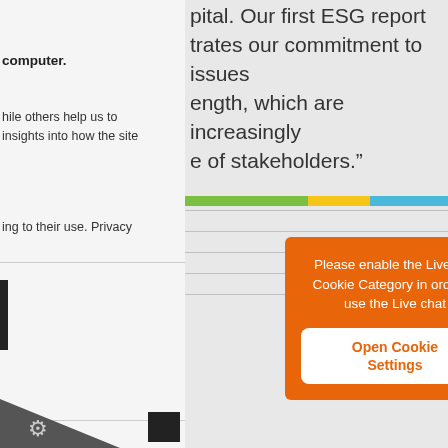computer.
hile others help us to insights into how the site
ing to their use. Privacy
pital. Our first ESG report trates our commitment to issues ength, which are increasingly e of stakeholders.”
[Figure (infographic): Horizontal color bar with green, yellow, and blue segments]
[Figure (screenshot): Orange popup dialog: Please enable the Livechat Cookie Category in order to use the Live chat, with Open Cookie Settings button]
nality such as page. The website cannot s, and can only be eferences.